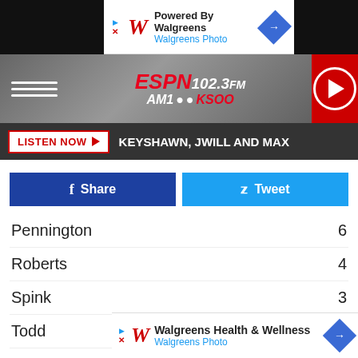[Figure (screenshot): Walgreens ad banner: 'Powered By Walgreens / Walgreens Photo' with Walgreens W logo and blue diamond navigation icon]
[Figure (logo): ESPN 102.3 FM AM1000 KSOO radio station logo on gray background header with hamburger menu and play button]
LISTEN NOW   KEYSHAWN, JWILL AND MAX
Share   Tweet
| Name | Value |
| --- | --- |
| Pennington | 6 |
| Roberts | 4 |
| Spink | 3 |
| Todd | 1 |
| Turner | 4 |
| Union | 3 |
| Yankto... |  |
[Figure (screenshot): Walgreens Health & Wellness / Walgreens Photo ad banner at bottom with W logo and blue diamond navigation icon]